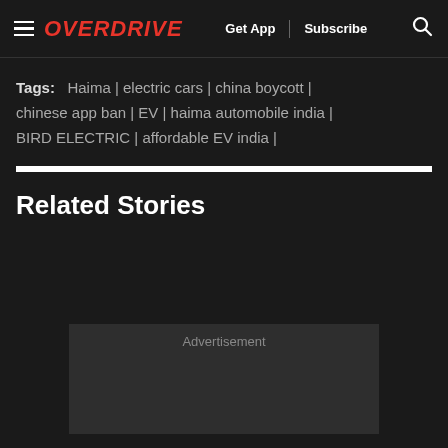OVERDRIVE | Get App | Subscribe
Tags: Haima | electric cars | china boycott | chinese app ban | EV | haima automobile india | BIRD ELECTRIC | affordable EV india |
Related Stories
Advertisement